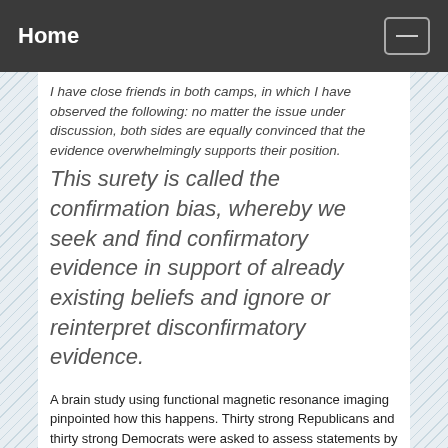Home
I have close friends in both camps, in which I have observed the following: no matter the issue under discussion, both sides are equally convinced that the evidence overwhelmingly supports their position.
This surety is called the confirmation bias, whereby we seek and find confirmatory evidence in support of already existing beliefs and ignore or reinterpret disconfirmatory evidence.
A brain study using functional magnetic resonance imaging pinpointed how this happens. Thirty strong Republicans and thirty strong Democrats were asked to assess statements by George Bush and John Kerry in which the 2004 presidential candidates clearly